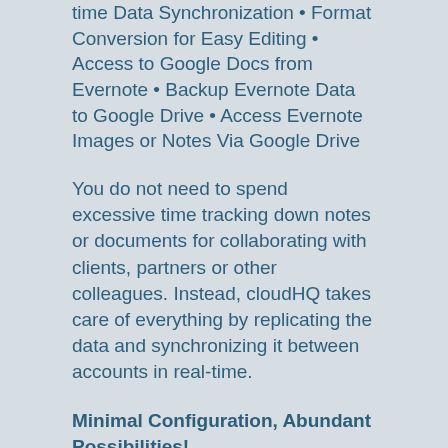time Data Synchronization • Format Conversion for Easy Editing • Access to Google Docs from Evernote • Backup Evernote Data to Google Drive • Access Evernote Images or Notes Via Google Drive
You do not need to spend excessive time tracking down notes or documents for collaborating with clients, partners or other colleagues. Instead, cloudHQ takes care of everything by replicating the data and synchronizing it between accounts in real-time.
Minimal Configuration, Abundant Possibilities!
While there are ways to perform this same functionality through individual cloud services, they often require custom integration or numerous steps. For example, to sync Evernote with Google Drive, you must first synchronize notes with all computers